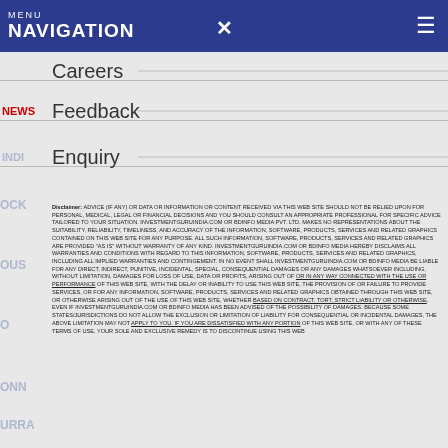MENU NAVIGATION  ×  ☰
Careers
NEWS  Feedback
INDI  Enquiry
Disclaimer: ADVICE (IF ANY) OR DATA OR INFORMATION OR CONTENT RECEIVED VIA THIS WEB SITE SHOULD NOT BE RELIED UPON FOR PERSONAL, MEDICAL, LEGAL OR FINANCIAL DECISIONS AND YOU SHOULD CONSULT AN APPROPRIATE PROFESSIONAL FOR SPECIFIC ADVICE TAILORED TO YOUR SITUATION. INVESTMENTGURUINDIA.COM OR BDINFO MEDIA PVT. LTD. MAKES NO REPRESENTATIONS ABOUT THE SUITABILITY, RELIABILITY, TIMELINESS, AND ACCURACY OF THE INFORMATION, SOFTWARE, PRODUCTS, SERVICES AND RELATED GRAPHICS CONTAINED ON THIS WEB SITE FOR ANY PURPOSE. ALL SUCH INFORMATION, SOFTWARE, PRODUCTS, SERVICES AND RELATED GRAPHICS ARE PROVIDED "AS IS" WITHOUT WARRANTY OF ANY KIND. INVESTMENTGURUINDIA.COM OR BDINFO MEDIA HEREBY DISCLAIMS ALL WARRANTIES AND CONDITIONS WITH REGARD TO THIS INFORMATION, SOFTWARE, PRODUCTS, SERVICES AND RELATED GRAPHICS, INCLUDING ALL IMPLIED WARRANTIES AND CONTINGEMENT. IN NO EVENT SHALL INVESTMENTGURUINDIA.COM OR BDINFO MEDIA BE LIABLE FOR ANY DIRECT, INDIRECT, PUNITIVE, INCIDENTAL, SPECIAL, CONSEQUENTIAL DAMAGES OR ANY DAMAGES WHATSOEVER INCLUDING, WITHOUT LIMITATION, DAMAGES FOR LOSS OF USE, DATA OR PROFITS, ARISING OUT OF OR IN ANY WAY CONNECTED WITH THE USE OR PERFORMANCE OF THIS WEB SITE, WITH THE DELAY OR INABILITY TO USE THIS WEB SITE, THE PROVISION OF OR FAILURE TO PROVIDE SERVICES, OR FOR ANY INFORMATION, SOFTWARE, PRODUCTS, SERVICES AND RELATED GRAPHICS OBTAINED THROUGH THIS WEB SITE, OR OTHERWISE ARISING OUT OF THE USE OF THIS WEB SITE, WHETHER BASED ON CONTRACT, TORT, STRICT LIABILITY OR OTHERWISE, EVEN IF INVESTMENTGURUINDIA.COM OR BDINFO MEDIA HAS BEEN ADVISED OF THE POSSIBILITY OF DAMAGES. BECAUSE SOME STATES/JURISDICTIONS DO NOT ALLOW THE EXCLUSION OR LIMITATION OF LIABILITY FOR CONSEQUENTIAL OR INCIDENTAL DAMAGES, THE ABOVE LIMITATION MAY NOT APPLY TO YOU. IF YOU ARE DISSATISFIED WITH ANY PORTION OF THIS WEB SITE, OR WITH ANY OF THESE TERMS OF USE, YOUR SOLE AND EXCLUSIVE REMEDY IS TO DISCONTINUE USING THIS WEB